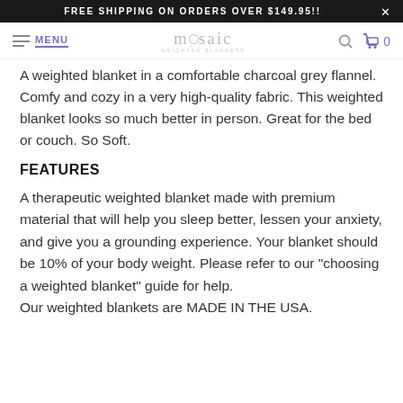FREE SHIPPING ON ORDERS OVER $149.95!!
MENU | mosaic WEIGHTED BLANKETS | 0
A weighted blanket in a comfortable charcoal grey flannel. Comfy and cozy in a very high-quality fabric. This weighted blanket looks so much better in person. Great for the bed or couch. So Soft.
FEATURES
A therapeutic weighted blanket made with premium material that will help you sleep better, lessen your anxiety, and give you a grounding experience. Your blanket should be 10% of your body weight. Please refer to our "choosing a weighted blanket" guide for help.
Our weighted blankets are MADE IN THE USA.